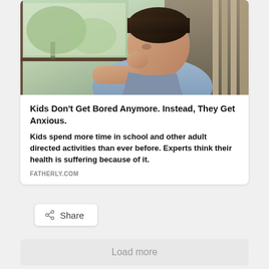[Figure (photo): A young boy in a blue polo shirt leaning on his hand, looking pensively out of a window. Green trees and light visible outside. Indoor wooden interior in background.]
Kids Don't Get Bored Anymore. Instead, They Get Anxious.
Kids spend more time in school and other adult directed activities than ever before. Experts think their health is suffering because of it.
FATHERLY.COM
Share
Load more